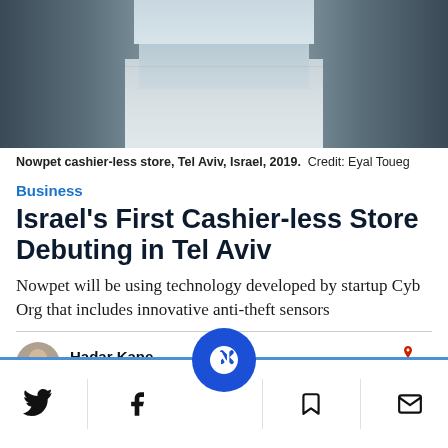[Figure (photo): Interior of Nowpet cashier-less store in Tel Aviv, Israel, showing a corridor with shelving units on either side and a tiled floor, taken in 2019.]
Nowpet cashier-less store, Tel Aviv, Israel, 2019.  Credit: Eyal Toueg
Business
Israel's First Cashier-less Store Debuting in Tel Aviv
Nowpet will be using technology developed by startup Cyb Org that includes innovative anti-theft sensors
Hadar Kane
Jul 26, 2019